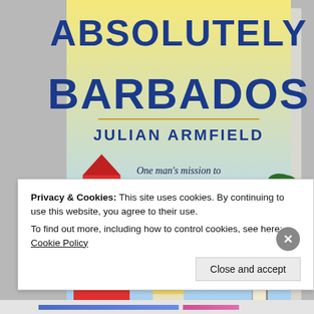[Figure (illustration): Book cover of 'Absolutely Barbados' by Julian Armfield. Large bold blue text reads 'ABSOLUTELY BARBADOS' at top. Below author name 'JULIAN ARMFIELD'. Subtitle: 'One man's mission to discover the heart and soul of a Caribbean paradise'. Illustrated scenes show a red church/clock tower on left, a man in a straw hat viewed from behind in center, a windmill on right, palm trees, and a sign reading 'BEACH THIS WAY'. Background is a gradient from yellow/cream at top to blue sky.]
Privacy & Cookies: This site uses cookies. By continuing to use this website, you agree to their use.
To find out more, including how to control cookies, see here: Cookie Policy
Close and accept